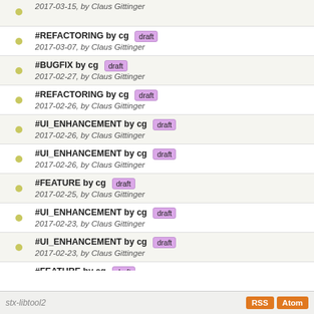#REFACTORING by cg [draft] 2017-03-07, by Claus Gittinger
#BUGFIX by cg [draft] 2017-02-27, by Claus Gittinger
#REFACTORING by cg [draft] 2017-02-26, by Claus Gittinger
#UI_ENHANCEMENT by cg [draft] 2017-02-26, by Claus Gittinger
#UI_ENHANCEMENT by cg [draft] 2017-02-26, by Claus Gittinger
#FEATURE by cg [draft] 2017-02-25, by Claus Gittinger
#UI_ENHANCEMENT by cg [draft] 2017-02-23, by Claus Gittinger
#UI_ENHANCEMENT by cg [draft] 2017-02-23, by Claus Gittinger
#FEATURE by cg [draft] 2017-02-22, by Claus Gittinger
Loading...
less more | (0) -3000 -1000 -300 -100 -60 +60 +100 +300 tip
stx-libtool2  RSS  Atom